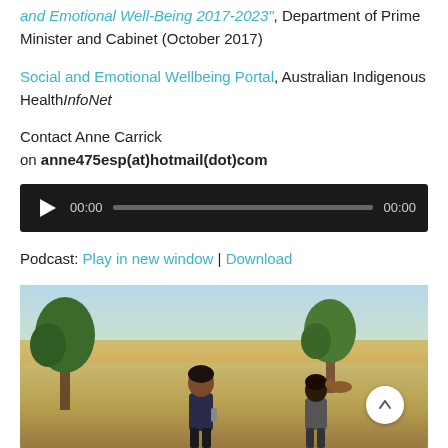and Emotional Well-Being 2017-2023", Department of Prime Minister and Cabinet (October 2017)
Social and Emotional Wellbeing Portal, Australian Indigenous HealthInfoNet
Contact Anne Carrick on anne475esp(at)hotmail(dot)com
[Figure (other): Audio player widget with play button, 00:00 timestamp, progress bar, and 00:00 end time on dark background]
Podcast: Play in new window | Download
Subscribe: Android | RSS
[Figure (photo): Outdoor scene with trees in the background and two people standing in a sunny open area, one facing the camera]